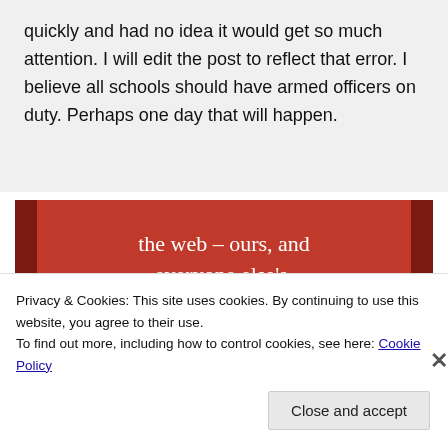quickly and had no idea it would get so much attention. I will edit the post to reflect that error. I believe all schools should have armed officers on duty. Perhaps one day that will happen.
[Figure (other): Red advertisement banner with white serif text reading 'the web – ours, and everyone else's.' with a black 'Start reading' button below]
Privacy & Cookies: This site uses cookies. By continuing to use this website, you agree to their use.
To find out more, including how to control cookies, see here: Cookie Policy
Close and accept